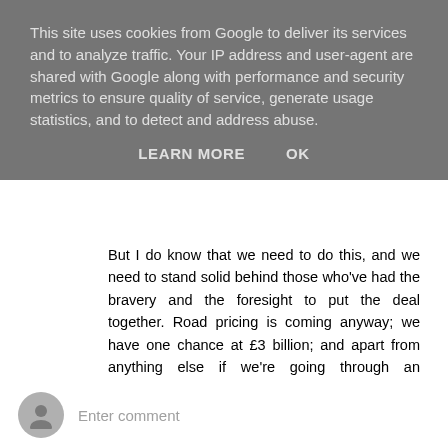This site uses cookies from Google to deliver its services and to analyze traffic. Your IP address and user-agent are shared with Google along with performance and security metrics to ensure quality of service, generate usage statistics, and to detect and address abuse.
LEARN MORE    OK
But I do know that we need to do this, and we need to stand solid behind those who've had the bravery and the foresight to put the deal together. Road pricing is coming anyway; we have one chance at £3 billion; and apart from anything else if we're going through an economic slowdown I for one would like to see an investment package like this hit our city region just when it needs it...
Anyway - you know all this comrade. Let's talk it through over lunch!
Reply
Enter comment